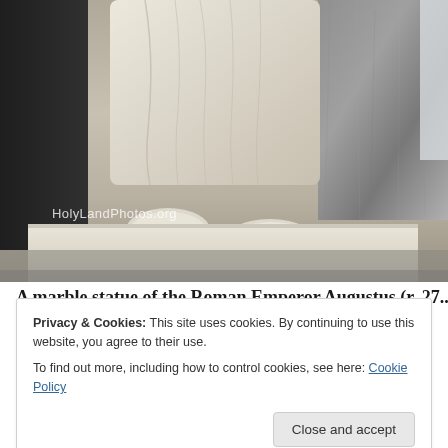[Figure (photo): Close-up photograph of the lower body and feet of a marble statue on a pedestal, with dark stone background on the left and granite pillar on the right. Watermark reads HolyLandPhotos.org]
A marble statue of the Roman Emperor Augustus (r. 27...
Privacy & Cookies: This site uses cookies. By continuing to use this website, you agree to their use.
To find out more, including how to control cookies, see here: Cookie Policy
Close and accept